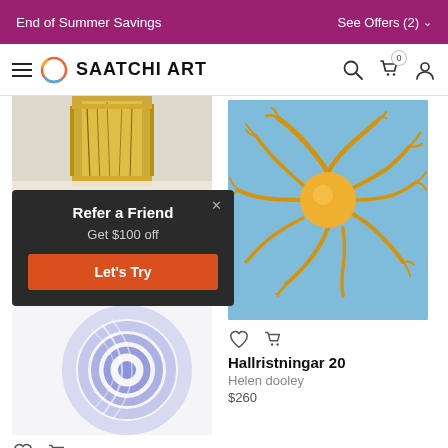End of Summer Savings | See Offers (2)
SAATCHI ART
[Figure (photo): Cropped artwork with gold/metallic texture on light background, top of left product card]
Hallristningar 15
Helen dooley
$360
[Figure (photo): Blue swirl circular artwork, partially visible behind popup overlay]
[Figure (photo): Blue background with gold/yellow neuron-like organic shape artwork - Hallristningar 20 by Helen dooley]
Hallristningar 20
Helen dooley
$260
Refer a Friend
Get $100 off
Let's Try